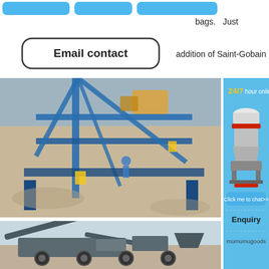[Figure (screenshot): Top navigation blue buttons bar (partial, cropped)]
bags.    Just
[Figure (screenshot): Email contact button with rounded rectangle border]
addition of Saint-Gobain
[Figure (photo): Aerial view of industrial mining conveyor/crushing plant with blue steel frame structure, trucks and machinery in quarry]
[Figure (photo): Mobile crusher/screening plant on wheels in an open quarry setting, grey machinery]
[Figure (infographic): Right sidebar: 24/7 hour online, white cone crusher machine image, Click me to chat>> button, Enquiry section, mumumugoods text, all on blue background]